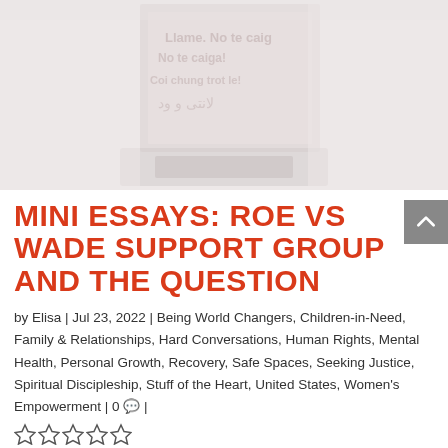[Figure (photo): Blurred/faded image of a multilingual sign or poster in a light gray/pink background. Text visible in multiple languages including Spanish 'No te caiga!' and Vietnamese 'Coi chung troi le!' and Arabic script. A hand or object is partially visible at the bottom.]
MINI ESSAYS: ROE VS WADE SUPPORT GROUP AND THE QUESTION
by Elisa | Jul 23, 2022 | Being World Changers, Children-in-Need, Family & Relationships, Hard Conversations, Human Rights, Mental Health, Personal Growth, Recovery, Safe Spaces, Seeking Justice, Spiritual Discipleship, Stuff of the Heart, United States, Women's Empowerment | 0 💬 | ☆☆☆☆☆